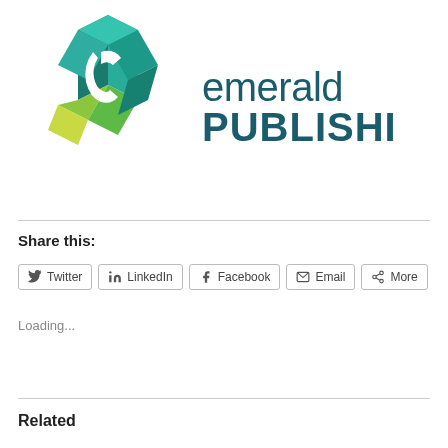[Figure (logo): Emerald Publishing logo with geometric gem icon in teal, green and yellow, and text 'emerald PUBLISHING' in dark teal]
Share this:
Twitter  LinkedIn  Facebook  Email  More
Loading...
Related